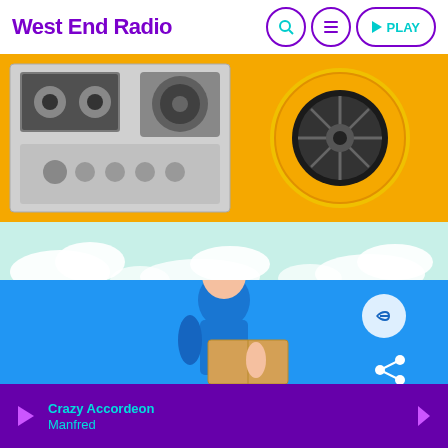West End Radio
[Figure (screenshot): Navigation bar with search, menu, and play buttons outlined in purple on white background]
[Figure (photo): Cassette recorder and reel-to-reel tape on yellow/orange background]
[Figure (photo): Woman in blue delivery uniform holding a box on blue background with link and share icons]
Crazy Accordeon
Manfred